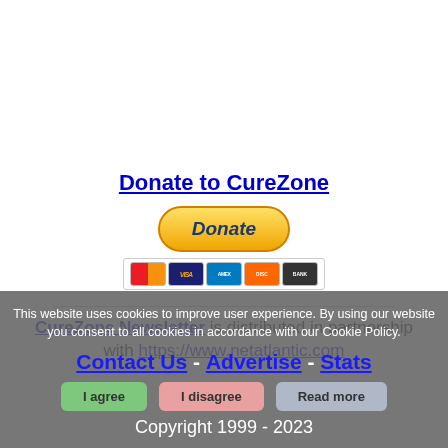Donate to CureZone
[Figure (other): PayPal Donate button with credit card icons (MasterCard, VISA, AMEX, Discover, Bank)]
CureZone Newsletter is distributed in partnership with https://www.netatlantic.com
This website uses cookies to improve user experience. By using our website you consent to all cookies in accordance with our Cookie Policy.
Contact Us - Advertise - Stats
Copyright 1999 - 2023